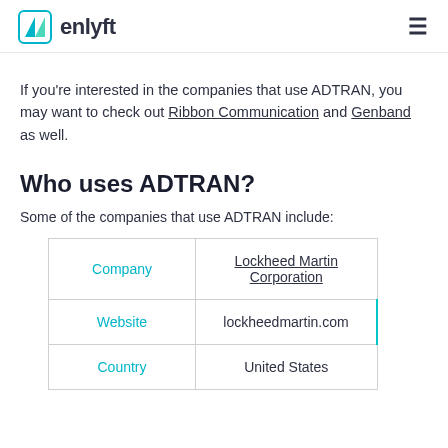enlyft
If you're interested in the companies that use ADTRAN, you may want to check out Ribbon Communication and Genband as well.
Who uses ADTRAN?
Some of the companies that use ADTRAN include:
| Company |  |
| --- | --- |
| Company | Lockheed Martin Corporation |
| Website | lockheedmartin.com |
| Country | United States |